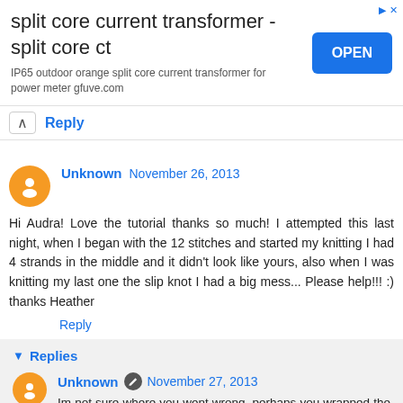[Figure (other): Advertisement banner: 'split core current transformer - split core ct' with OPEN button and subtext 'IP65 outdoor orange split core current transformer for power meter gfuve.com']
Reply
Unknown  November 26, 2013
Hi Audra! Love the tutorial thanks so much! I attempted this last night, when I began with the 12 stitches and started my knitting I had 4 strands in the middle and it didn't look like yours, also when I was knitting my last one the slip knot I had a big mess... Please help!!! :) thanks Heather
Reply
Replies
Unknown  November 27, 2013
Im not sure where you went wrong, perhaps you wrapped the tail or working yarn around the